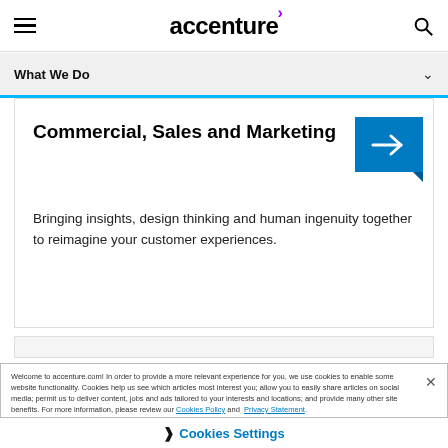accenture
What We Do
Commercial, Sales and Marketing
Bringing insights, design thinking and human ingenuity together to reimagine your customer experiences.
Welcome to accenture.com! In order to provide a more relevant experience for you, we use cookies to enable some website functionality. Cookies help us see which articles most interest you; allow you to easily share articles on social media; permit us to deliver content, jobs and ads tailored to your interests and locations; and provide many other site benefits. For more information, please review our Cookies Policy and Privacy Statement.
❯  Cookies Settings